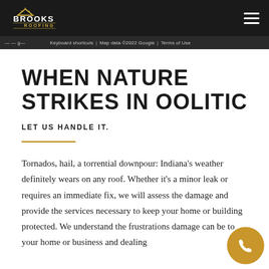Brooks Roofing
Keyboard shortcuts | Map data ©2022 Google | Terms of Use
WHEN NATURE STRIKES IN OOLITIC
LET US HANDLE IT.
Tornados, hail, a torrential downpour: Indiana's weather definitely wears on any roof. Whether it's a minor leak or requires an immediate fix, we will assess the damage and provide the services necessary to keep your home or building protected. We understand the frustrations damage can be to your home or business and dealing